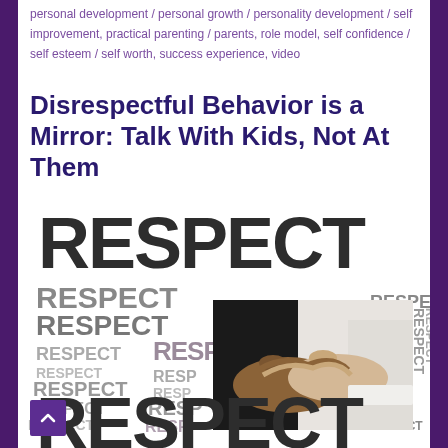personal development / personal growth / personality development / self improvement, practical parenting / parents, role model, self confidence / self esteem / self worth, success experience, video
Disrespectful Behavior is a Mirror: Talk With Kids, Not At Them
[Figure (illustration): A typographic illustration with the word RESPECT repeated in various sizes and shades of gray and black, arranged in a collage pattern. In the center is a photograph of two hands shaking (one darker-skinned, one lighter-skinned). The large bold word RESPECT appears at the top and bottom in dark gray/charcoal text, with smaller repetitions of the word filling the background.]